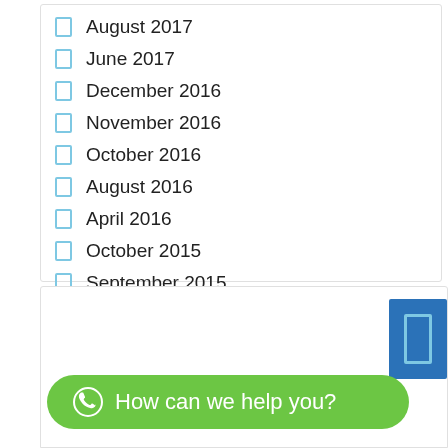August 2017
June 2017
December 2016
November 2016
October 2016
August 2016
April 2016
October 2015
September 2015
July 2015
How can we help you?